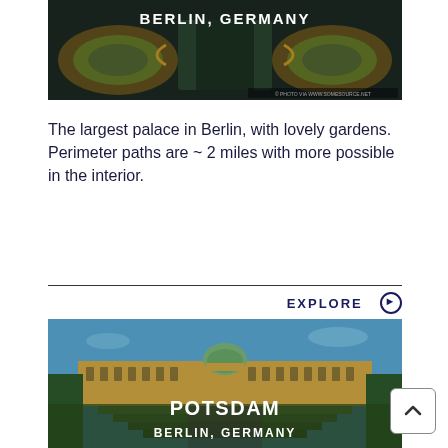[Figure (photo): Aerial/overhead view of a formal garden palace in Berlin, Germany, with green ornamental gardens visible. Text overlay reads BERLIN, GERMANY.]
The largest palace in Berlin, with lovely gardens. Perimeter paths are ~ 2 miles with more possible in the interior.
EXPLORE ⊙
[Figure (photo): Exterior photo of Sanssouci Palace in Potsdam near Berlin, showing the grand baroque facade with green dome, terraced gardens and steps in the foreground. Text overlay reads POTSDAM and BERLIN, GERMANY.]